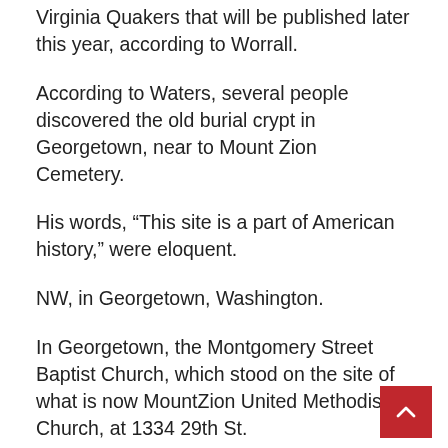Virginia Quakers that will be published later this year, according to Worrall.
According to Waters, several people discovered the old burial crypt in Georgetown, near to Mount Zion Cemetery.
His words, “This site is a part of American history,” were eloquent.
NW, in Georgetown, Washington.
In Georgetown, the Montgomery Street Baptist Church, which stood on the site of what is now MountZion United Methodist Church, at 1334 29th St.
Churchgoers, the majority of whom were free blacks, supported slaves since churches